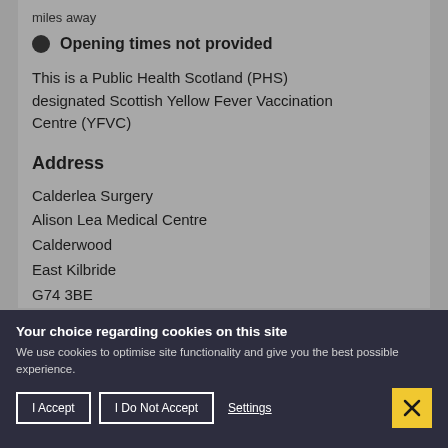miles away
Opening times not provided
This is a Public Health Scotland (PHS) designated Scottish Yellow Fever Vaccination Centre (YFVC)
Address
Calderlea Surgery
Alison Lea Medical Centre
Calderwood
East Kilbride
G74 3BE
Your choice regarding cookies on this site
We use cookies to optimise site functionality and give you the best possible experience.